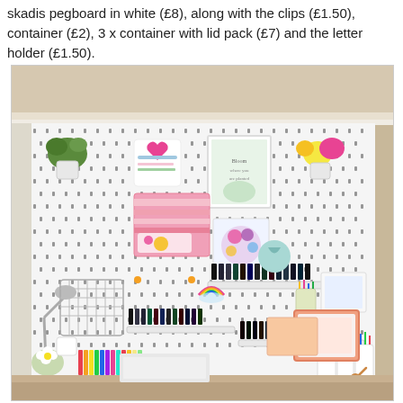skadis pegboard in white (£8), along with the clips (£1.50), container (£2), 3 x container with lid pack (£7) and the letter holder (£1.50).
[Figure (photo): A white IKEA Skadis pegboard mounted on a wall, decorated with various craft and stationery items including small potted plants, framed artwork, colorful boxes, pencil holders, nail polish bottles, shelves, a letter holder, a desk lamp, scissors, and bright artificial flowers. A wooden desk is visible at the bottom with craft supplies.]